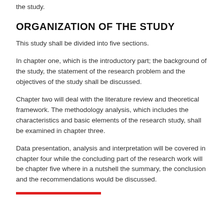the study.
ORGANIZATION OF THE STUDY
This study shall be divided into five sections.
In chapter one, which is the introductory part; the background of the study, the statement of the research problem and the objectives of the study shall be discussed.
Chapter two will deal with the literature review and theoretical framework. The methodology analysis, which includes the characteristics and basic elements of the research study, shall be examined in chapter three.
Data presentation, analysis and interpretation will be covered in chapter four while the concluding part of the research work will be chapter five where in a nutshell the summary, the conclusion and the recommendations would be discussed.